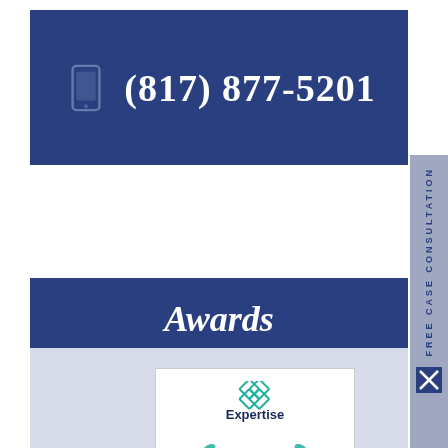(817) 877-5201
Awards
[Figure (logo): Expertise award badge - Best Criminal Defense Lawyers in Fort Worth 2020, with teal laurel wreath and diamond logo]
EXPERTISE
BEST CRIMINAL DEFENSE
FREE CASE CONSULTATION